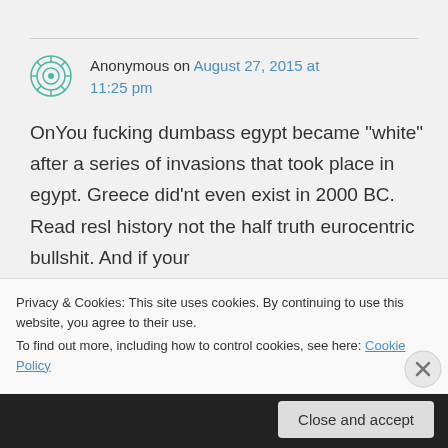Anonymous on August 27, 2015 at 11:25 pm
OnYou fucking dumbass egypt became "white" after a series of invasions that took place in egypt. Greece did'nt even exist in 2000 BC. Read resl history not the half truth eurocentric bullshit. And if your
Privacy & Cookies: This site uses cookies. By continuing to use this website, you agree to their use.
To find out more, including how to control cookies, see here: Cookie Policy